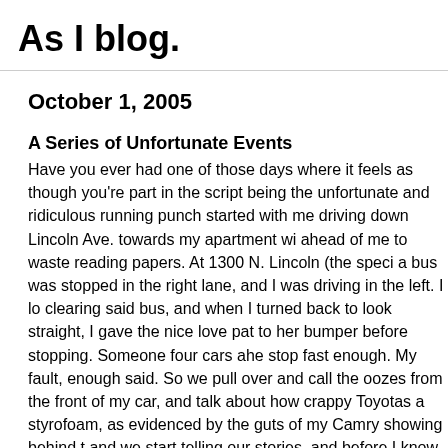As I blog.
October 1, 2005
A Series of Unfortunate Events
Have you ever had one of those days where it feels as though you're part in the script being the unfortunate and ridiculous running punch... started with me driving down Lincoln Ave. towards my apartment wi... ahead of me to waste reading papers. At 1300 N. Lincoln (the speci... a bus was stopped in the right lane, and I was driving in the left. I lo... clearing said bus, and when I turned back to look straight, I gave the... nice love pat to her bumper before stopping. Someone four cars ahe... stop fast enough. My fault, enough said. So we pull over and call the... oozes from the front of my car, and talk about how crappy Toyotas a... styrofoam, as evidenced by the guts of my Camry showing behind t... and we start telling our stories, and before I know it, a tow truck is a... and leave. I ask what company he works for, but didn't understand h... the information off the ticket or accident report later. By some stroke... groceries in the car, and took those out of the back to lay them in th... paperwork, Chelsey (the other driver) and I watched as three other a... traffic in two turns. My patient cop, and I finally got a ticket...